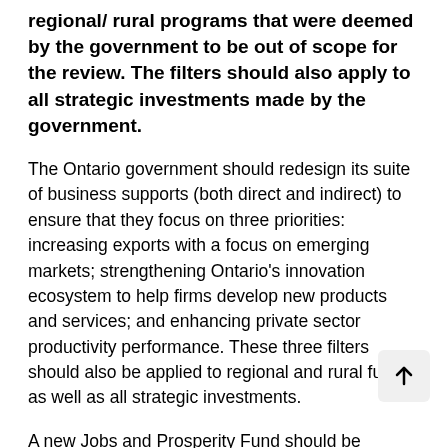regional/ rural programs that were deemed by the government to be out of scope for the review. The filters should also apply to all strategic investments made by the government.
The Ontario government should redesign its suite of business supports (both direct and indirect) to ensure that they focus on three priorities: increasing exports with a focus on emerging markets; strengthening Ontario's innovation ecosystem to help firms develop new products and services; and enhancing private sector productivity performance. These three filters should also be applied to regional and rural funds, as well as all strategic investments.
A new Jobs and Prosperity Fund should be simpler